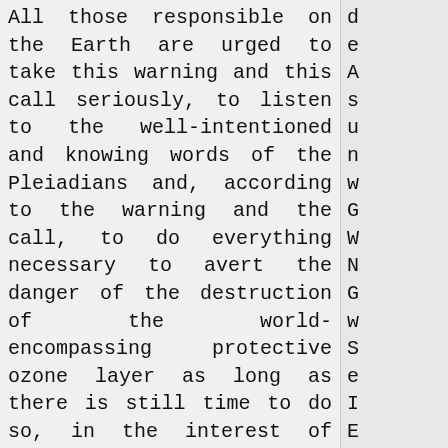All those responsible on the Earth are urged to take this warning and this call seriously, to listen to the well-intentioned and knowing words of the Pleiadians and, according to the warning and the call, to do everything necessary to avert the danger of the destruction of the world-encompassing protective ozone layer as long as there is still time to do so, in the interest of all life on the Earth.
All you responsible persons of the Earth, you who have the ability to keep the human beings away from the dangerous use of CFCs by a strict CFC use ban or by public warnings etc. or to draw attention to the imminent
d e A s u n w G W N G w S e I E A E h G